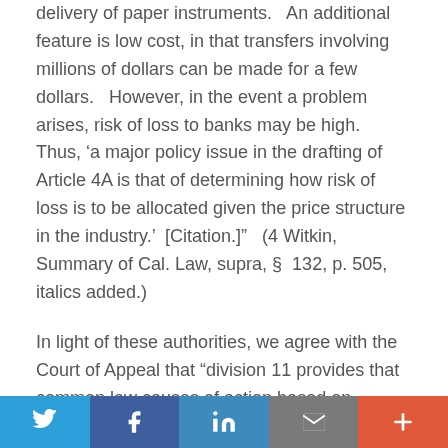delivery of paper instruments.   An additional feature is low cost, in that transfers involving millions of dollars can be made for a few dollars.   However, in the event a problem arises, risk of loss to banks may be high.   Thus, 'a major policy issue in the drafting of Article 4A is that of determining how risk of loss is to be allocated given the price structure in the industry.'  [Citation.]"  (4 Witkin, Summary of Cal. Law, supra, §  132, p. 505, italics added.)
In light of these authorities, we agree with the Court of Appeal that “division 11 provides that common law causes of action based on allegedly unauthorized funds transfers are preempted in two specific areas:  (1) where the common law claims would create rights, duties, or liabilities inconsistent with division 11;  and (2) where the circumstances giving rise to the common law claims are specifically covered by the provisions of division 11.”
Social share bar: Twitter, Facebook, LinkedIn, Email, More